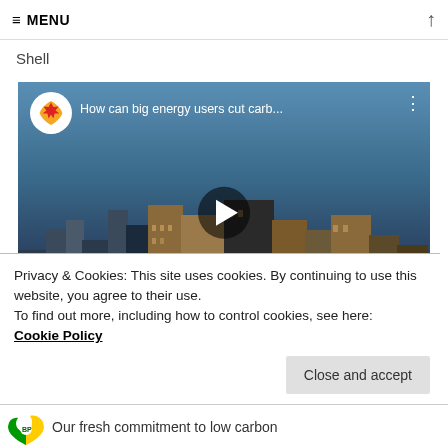≡ MENU
Shell
[Figure (screenshot): Shell YouTube video thumbnail showing city skyline with overlaid text 'BIG ENERGY USERS LOWER EMISSIONS'. Shell logo circle top-left, video title 'How can big energy users cut carb...' at top, play button in center, video controls at bottom showing 00:00 and 02:20 timestamps.]
Privacy & Cookies: This site uses cookies. By continuing to use this website, you agree to their use.
To find out more, including how to control cookies, see here:
Cookie Policy
Close and accept
[Figure (screenshot): Bottom strip showing BP logo circle and text 'Our fresh commitment to low carbon']